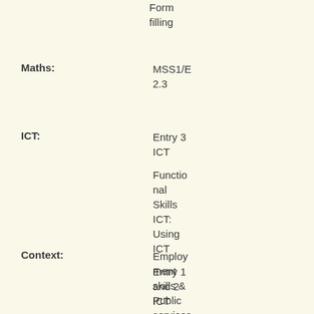Form filling
Maths: MSS1/E 2.3
ICT: Entry 3 ICT
Functional Skills ICT: Using ICT
Entry 1 and 2 ICT
Context: Employment skills & Public services